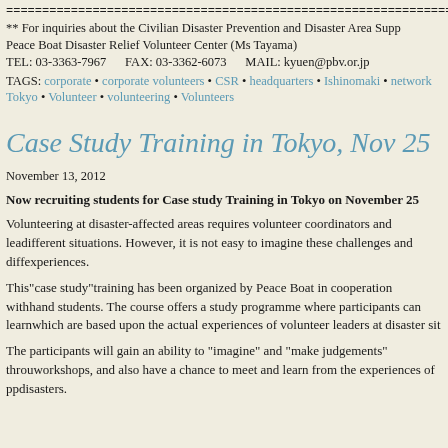================================================================
** For inquiries about the Civilian Disaster Prevention and Disaster Area Supp
Peace Boat Disaster Relief Volunteer Center (Ms Tayama)
TEL: 03-3363-7967    FAX: 03-3362-6073    MAIL: kyuen@pbv.or.jp
TAGS: corporate • corporate volunteers • CSR • headquarters • Ishinomaki • network
Tokyo • Volunteer • volunteering • Volunteers
Case Study Training in Tokyo, Nov 25
November 13, 2012
Now recruiting students for Case study Training in Tokyo on November 25
Volunteering at disaster-affected areas requires volunteer coordinators and leaders to deal with many different situations. However, it is not easy to imagine these challenges and difficulties without direct experiences.
This"case study"training has been organized by Peace Boat in cooperation with and students. The course offers a study programme where participants can learn which are based upon the actual experiences of volunteer leaders at disaster sit
The participants will gain an ability to "imagine" and "make judgements" through workshops, and also have a chance to meet and learn from the experiences of p disasters.